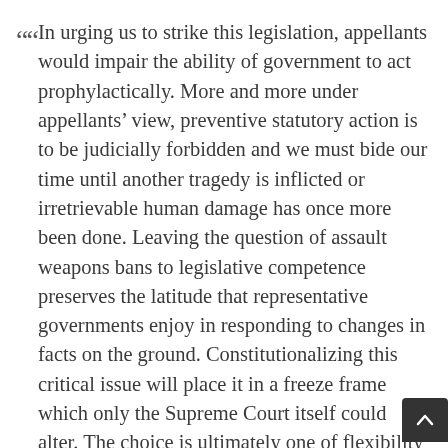In urging us to strike this legislation, appellants would impair the ability of government to act prophylactically. More and more under appellants' view, preventive statutory action is to be judicially forbidden and we must bide our time until another tragedy is inflicted or irretrievable human damage has once more been done. Leaving the question of assault weapons bans to legislative competence preserves the latitude that representative governments enjoy in responding to changes in facts on the ground. Constitutionalizing this critical issue will place it in a freeze frame which only the Supreme Court itself could alter. The choice is ultimately one of flexibili[ty] versus rigidity, and beyond that, of…